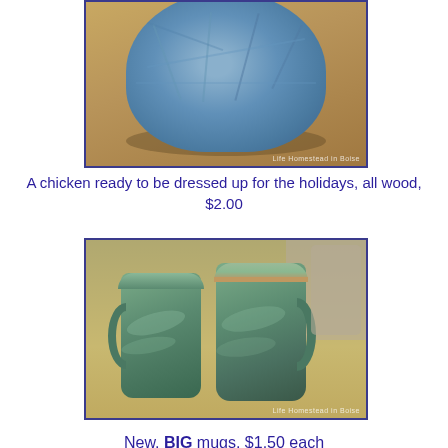[Figure (photo): Top portion of a blue ceramic bowl on a wooden surface, partially cropped at top. Watermark text visible at bottom right.]
A chicken ready to be dressed up for the holidays, all wood, $2.00
[Figure (photo): Two large green/teal ceramic mugs sitting on a wooden surface. Watermark text visible at bottom right.]
New, BIG mugs, $1.50 each
[Figure (photo): Decorative holiday figurines including what appears to be a Santa/wizard figure and metal Christmas trees, with small pumpkins in background on a light green background.]